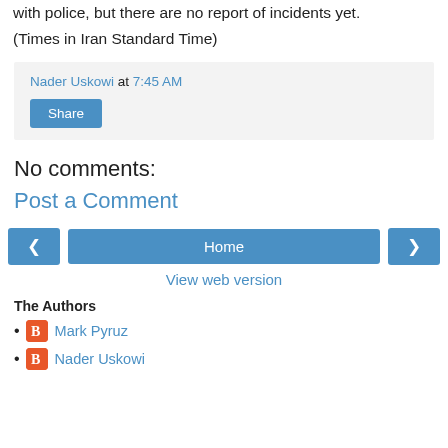with police, but there are no report of incidents yet.
(Times in Iran Standard Time)
Nader Uskowi at 7:45 AM
Share
No comments:
Post a Comment
Home
View web version
The Authors
Mark Pyruz
Nader Uskowi